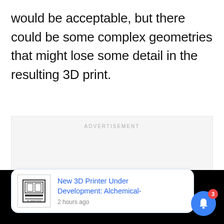would be acceptable, but there could be some complex geometries that might lose some detail in the resulting 3D print.
[Figure (other): Advertisement placeholder box with 'ADVERTISEMENT' label and three pagination dots at the bottom]
[Figure (screenshot): Browser notification card showing '3D Printer thumbnail image', text 'New 3D Printer Under Development: Alchemical-', '2 hours ago', with a blue bell icon with red badge showing '3' and a close button X]
New 3D Printer Under Development: Alchemical-
2 hours ago